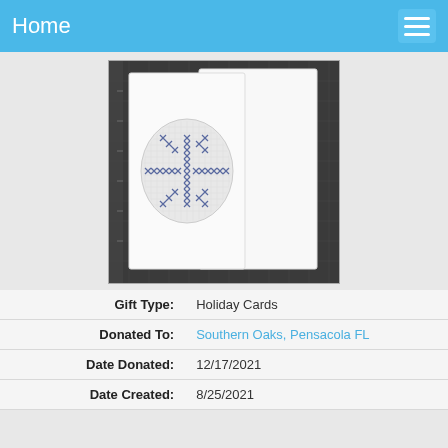Home
[Figure (photo): A white greeting card standing upright on a dark gridded craft mat. The card features an oval cutout window with cross-stitched snowflake design in blue thread on white fabric.]
| Gift Type: | Holiday Cards |
| Donated To: | Southern Oaks, Pensacola FL |
| Date Donated: | 12/17/2021 |
| Date Created: | 8/25/2021 |